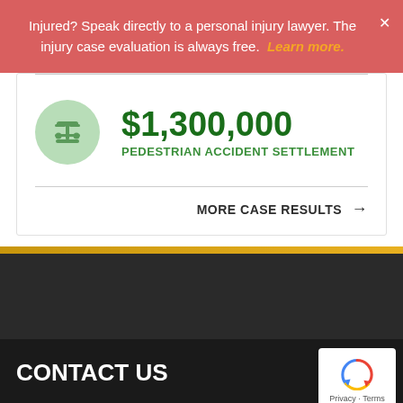Injured? Speak directly to a personal injury lawyer. The injury case evaluation is always free. Learn more.
$1,300,000
PEDESTRIAN ACCIDENT SETTLEMENT
MORE CASE RESULTS →
CONTACT US